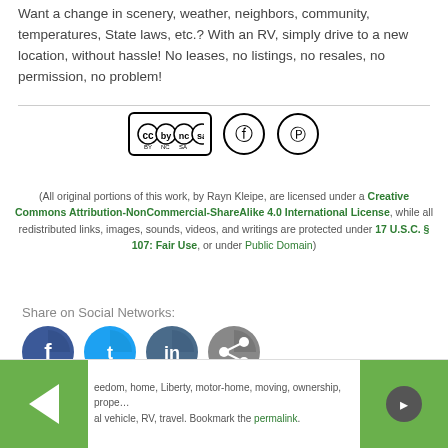Want a change in scenery, weather, neighbors, community, temperatures, State laws, etc.? With an RV, simply drive to a new location, without hassle! No leases, no listings, no resales, no permission, no problem!
[Figure (logo): Creative Commons BY-NC-SA license badge with two additional circular icons]
(All original portions of this work, by Rayn Kleipe, are licensed under a Creative Commons Attribution-NonCommercial-ShareAlike 4.0 International License, while all redistributed links, images, sounds, videos, and writings are protected under 17 U.S.C. § 107: Fair Use, or under Public Domain)
Share on Social Networks:
[Figure (infographic): Four social share buttons: Facebook (dark blue), Twitter (cyan), LinkedIn (dark blue), and a gray share button, with count 0 below Facebook]
eedom, home, Liberty, motor-home, moving, ownership, prope... al vehicle, RV, travel. Bookmark the permalink.